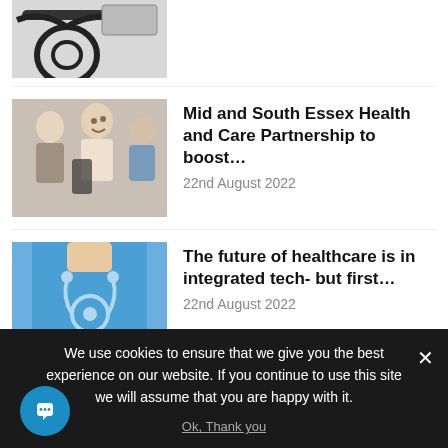[Figure (photo): Partial view of a blood pressure monitor with black tubing, cropped at top]
[Figure (photo): Group of elderly people smiling, one being helped by a caregiver with a device]
Mid and South Essex Health and Care Partnership to boost…
22nd August 2022
[Figure (photo): Healthcare worker in blue scrubs with stethoscope]
The future of healthcare is in integrated tech- but first…
22nd August 2022
We use cookies to ensure that we give you the best experience on our website. If you continue to use this site we will assume that you are happy with it.